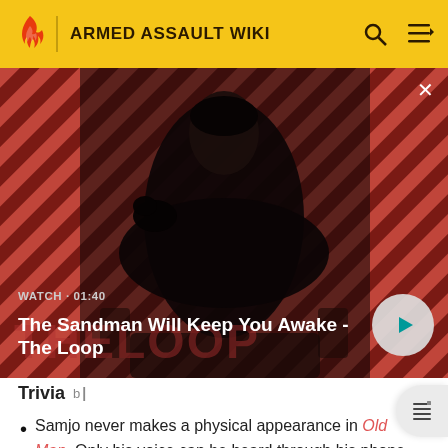ARMED ASSAULT WIKI
[Figure (screenshot): Video thumbnail showing a dark-clad figure with a raven on shoulder against a red diagonal striped background. Title: 'The Sandman Will Keep You Awake - The Loop'. Duration: 01:40. Play button visible.]
Trivia
Samjo never makes a physical appearance in Old Man. Only his voice can be heard through his phone conversations with Santiago.